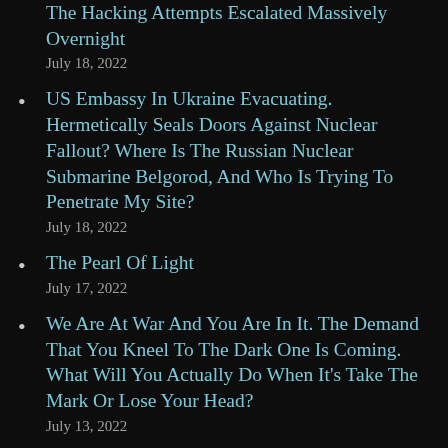The Hacking Attempts Escalated Massively Overnight
July 18, 2022
US Embassy In Ukraine Evacuating. Hermetically Seals Doors Against Nuclear Fallout? Where Is The Russian Nuclear Submarine Belgorod, And Who Is Trying To Penetrate My Site?
July 18, 2022
The Pearl Of Light
July 17, 2022
We Are At War And You Are In It. The Demand That You Kneel To The Dark One Is Coming. What Will You Actually Do When It’s Take The Mark Or Lose Your Head?
July 13, 2022
Information On The Drought. If You Live